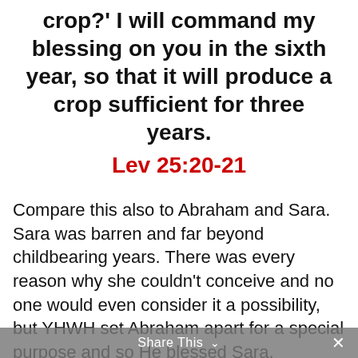crop?' I will command my blessing on you in the sixth year, so that it will produce a crop sufficient for three years.
Lev 25:20-21
Compare this also to Abraham and Sara. Sara was barren and far beyond childbearing years. There was every reason why she couldn't conceive and no one would even consider it a possibility, but YHWH set Abraham apart for a special purpose and so He blessed Sara.
Share This ∨  ×